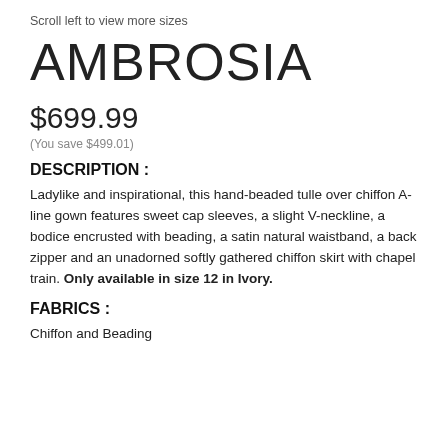Scroll left to view more sizes
AMBROSIA
$699.99
(You save $499.01)
DESCRIPTION :
Ladylike and inspirational, this hand-beaded tulle over chiffon A-line gown features sweet cap sleeves, a slight V-neckline, a bodice encrusted with beading, a satin natural waistband, a back zipper and an unadorned softly gathered chiffon skirt with chapel train. Only available in size 12 in Ivory.
FABRICS :
Chiffon and Beading